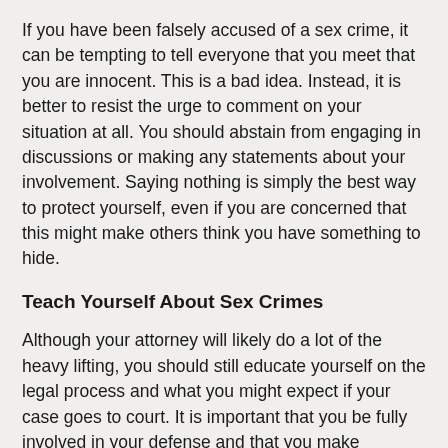If you have been falsely accused of a sex crime, it can be tempting to tell everyone that you meet that you are innocent. This is a bad idea. Instead, it is better to resist the urge to comment on your situation at all. You should abstain from engaging in discussions or making any statements about your involvement. Saying nothing is simply the best way to protect yourself, even if you are concerned that this might make others think you have something to hide.
Teach Yourself About Sex Crimes
Although your attorney will likely do a lot of the heavy lifting, you should still educate yourself on the legal process and what you might expect if your case goes to court. It is important that you be fully involved in your defense and that you make decisions based on knowledge rather than on gut instinct.
That does not mean you should assume you know more than your attorney does; it simply means that you should take an active role and be able to provide information that could help your defense